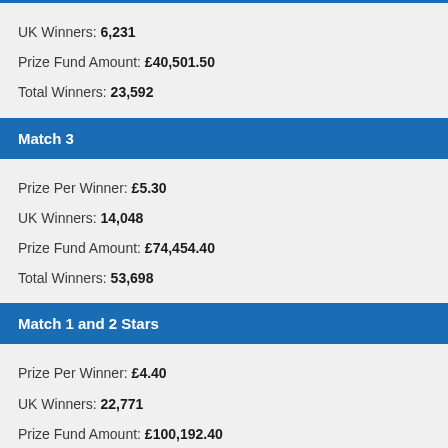UK Winners: 6,231
Prize Fund Amount: £40,501.50
Total Winners: 23,592
Match 3
Prize Per Winner: £5.30
UK Winners: 14,048
Prize Fund Amount: £74,454.40
Total Winners: 53,698
Match 1 and 2 Stars
Prize Per Winner: £4.40
UK Winners: 22,771
Prize Fund Amount: £100,192.40
Total Winners: 77,349